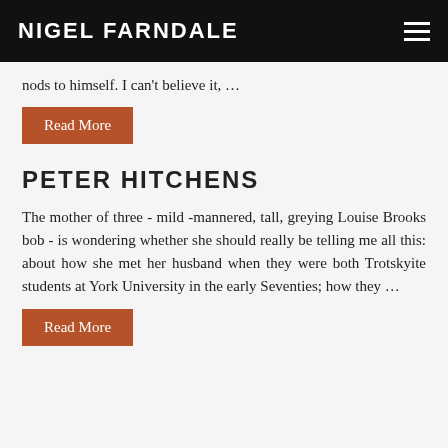NIGEL FARNDALE
nods to himself. I can't believe it, …
Read More
PETER HITCHENS
The mother of three - mild -mannered, tall, greying Louise Brooks bob - is wondering whether she should really be telling me all this: about how she met her husband when they were both Trotskyite students at York University in the early Seventies; how they …
Read More